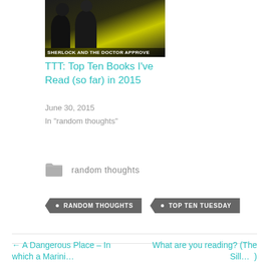[Figure (photo): Meme image showing two men in suits with text overlay 'SHERLOCK AND THE DOCTOR APPROVE']
TTT: Top Ten Books I've Read (so far) in 2015
June 30, 2015
In "random thoughts"
random thoughts
RANDOM THOUGHTS
TOP TEN TUESDAY
← A Dangerous Place – In
What are you reading? (The